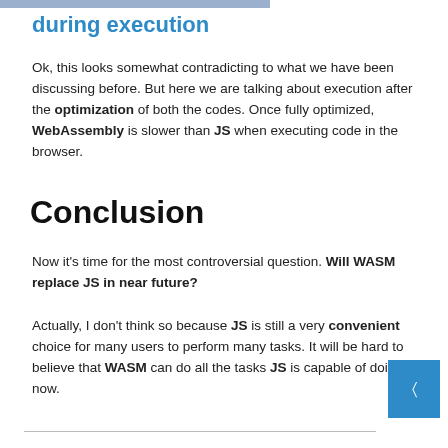during execution
Ok, this looks somewhat contradicting to what we have been discussing before. But here we are talking about execution after the optimization of both the codes. Once fully optimized, WebAssembly is slower than JS when executing code in the browser.
Conclusion
Now it’s time for the most controversial question. Will WASM replace JS in near future?
Actually, I don’t think so because JS is still a very convenient choice for many users to perform many tasks. It will be hard to believe that WASM can do all the tasks JS is capable of doing now.